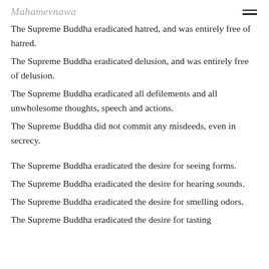Mahamevnawa
The Supreme Buddha eradicated hatred, and was entirely free of hatred.
The Supreme Buddha eradicated delusion, and was entirely free of delusion.
The Supreme Buddha eradicated all defilements and all unwholesome thoughts, speech and actions.
The Supreme Buddha did not commit any misdeeds, even in secrecy.
The Supreme Buddha eradicated the desire for seeing forms.
The Supreme Buddha eradicated the desire for hearing sounds.
The Supreme Buddha eradicated the desire for smelling odors.
The Supreme Buddha eradicated the desire for tasting